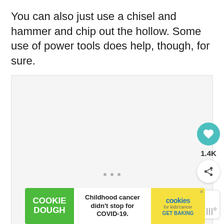You can also just use a chisel and hammer and chip out the hollow. Some use of power tools does help, though, for sure.
[Figure (other): Large image placeholder area with loading dots, a favorite (heart) button showing 1.4K likes, and a share button]
WHAT'S NEXT → DIY Fall Scarecrow...
[Figure (other): Cookie Dough advertisement banner: Childhood cancer didn't stop for COVID-19. GET BAKING]